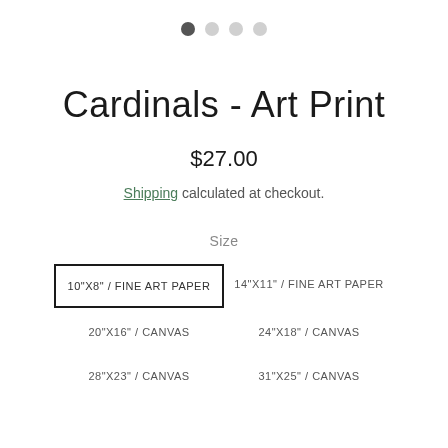[Figure (other): Pagination dots: 4 circles, first one dark/active, remaining three light/inactive]
Cardinals - Art Print
$27.00
Shipping calculated at checkout.
Size
10"X8" / FINE ART PAPER (selected)
14"X11" / FINE ART PAPER
20"X16" / CANVAS
24"X18" / CANVAS
28"X23" / CANVAS
31"X25" / CANVAS